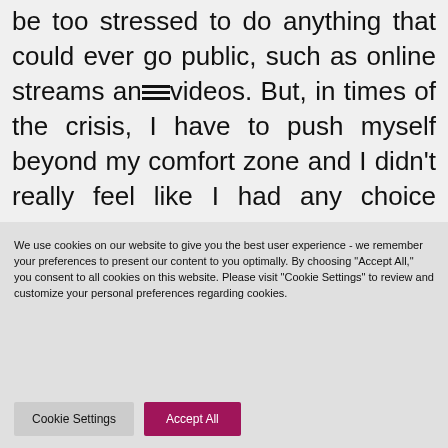be too stressed to do anything that could ever go public, such as online streams and videos. But, in times of the crisis, I have to push myself beyond my comfort zone and I didn't really feel like I had any choice there.
We use cookies on our website to give you the best user experience - we remember your preferences to present our content to you optimally. By choosing "Accept All," you consent to all cookies on this website. Please visit "Cookie Settings" to review and customize your personal preferences regarding cookies.